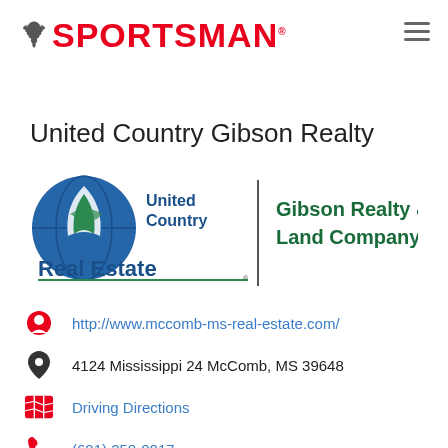SPORTSMAN (logo)
United Country Gibson Realty
[Figure (logo): United Country Real Estate | Gibson Realty & Land Company logo]
http://www.mccomb-ms-real-estate.com/
4124 Mississippi 24 McComb, MS 39648
Driving Directions
(601) 250-0017